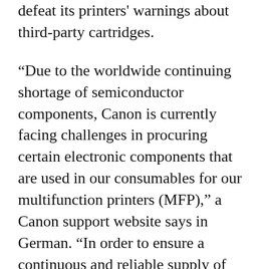defeat its printers' warnings about third-party cartridges.
“Due to the worldwide continuing shortage of semiconductor components, Canon is currently facing challenges in procuring certain electronic components that are used in our consumables for our multifunction printers (MFP),” a Canon support website says in German. “In order to ensure a continuous and reliable supply of consumables, we have decided to supply consumables without a semiconductor component until the normal supply takes place again.”
The chip in question tells the printer when